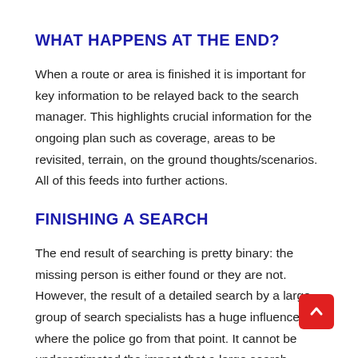WHAT HAPPENS AT THE END?
When a route or area is finished it is important for key information to be relayed back to the search manager. This highlights crucial information for the ongoing plan such as coverage, areas to be revisited, terrain, on the ground thoughts/scenarios. All of this feeds into further actions.
FINISHING A SEARCH
The end result of searching is pretty binary: the missing person is either found or they are not. However, the result of a detailed search by a large group of search specialists has a huge influence on where the police go from that point. It cannot be underestimated the impact that a large search